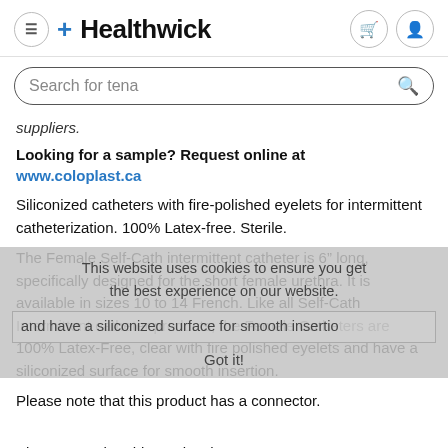[Figure (logo): Healthwick logo with blue plus sign and dark text]
Search for tena
suppliers.
Looking for a sample? Request online at www.coloplast.ca
Siliconized catheters with fire-polished eyelets for intermittent catheterization. 100% Latex-free. Sterile.
The Female Self-Cath intermittent catheter is 6" long, specifically designed for the short female urethra. It is available in sizes 10 to 14 French. Like all Self-Cath Intermittent catheter products, the Female Catheters are 100% Latex-Free, clear with fire polished eyelets and have a siliconized surface for smooth insertion.
This website uses cookies to ensure you get the best experience on our website.
Got it!
Please note that this product has a connector.
All Sizes, 30 per case